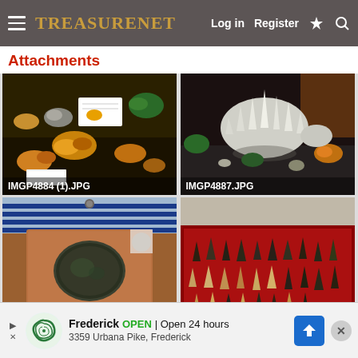TreasureNet — Log in  Register
Attachments
[Figure (photo): Collection of mineral specimens on a dark surface with labels and boxes. File name: IMGP4884 (1).JPG]
[Figure (photo): White crystal cluster and mineral specimens on display. File name: IMGP4887.JPG]
[Figure (photo): A green and brown circular flat stone or coin-like object on a terracotta tile, with blue striped fabric in background.]
[Figure (photo): A red-lined display tray containing arrowheads and stone tools arranged in rows.]
Frederick  OPEN  Open 24 hours  3359 Urbana Pike, Frederick